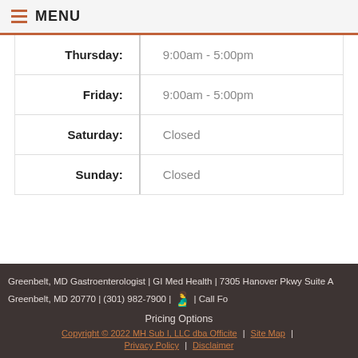MENU
| Day | Hours |
| --- | --- |
| Thursday: | 9:00am - 5:00pm |
| Friday: | 9:00am - 5:00pm |
| Saturday: | Closed |
| Sunday: | Closed |
Greenbelt, MD Gastroenterologist | GI Med Health | 7305 Hanover Pkwy Suite A Greenbelt, MD 20770 | (301) 982-7900 | | Call For Pricing Options
Copyright © 2022 MH Sub I, LLC dba Officite | Site Map | Privacy Policy | Disclaimer